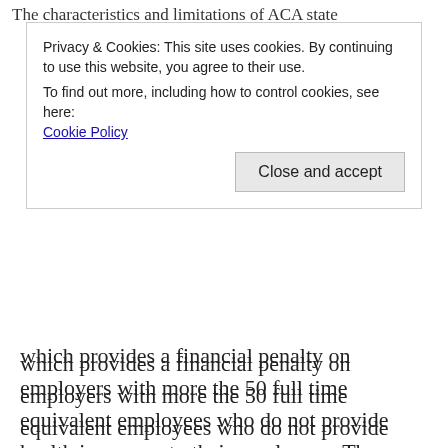The characteristics and limitations of ACA state
Privacy & Cookies: This site uses cookies. By continuing to use this website, you agree to their use.
To find out more, including how to control cookies, see here:
Cookie Policy
Close and accept
which provides a financial penalty on employers with more the 50 full time equivalent employees who do not provide health insurance to their employees. The employer mandate could be modified to allow and encourage employers to pay for health insurance on state exchange market places rather than offer a company-specific plan.
Second, the ACA eliminates tax credits to people once they obtain a position offering